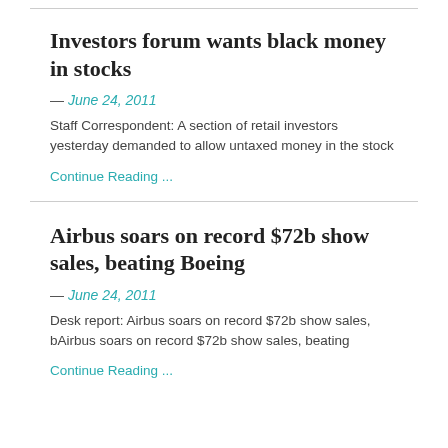Investors forum wants black money in stocks
— June 24, 2011
Staff Correspondent: A section of retail investors yesterday demanded to allow untaxed money in the stock
Continue Reading ...
Airbus soars on record $72b show sales, beating Boeing
— June 24, 2011
Desk report: Airbus soars on record $72b show sales, bAirbus soars on record $72b show sales, beating
Continue Reading ...